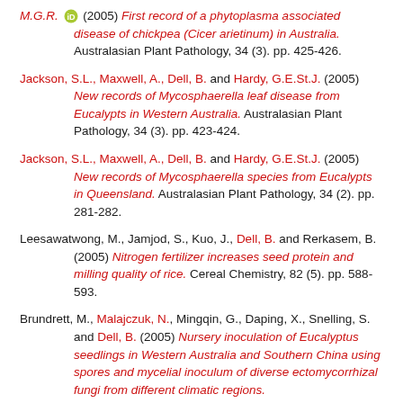M.G.R. (2005) First record of a phytoplasma associated disease of chickpea (Cicer arietinum) in Australia. Australasian Plant Pathology, 34 (3). pp. 425-426.
Jackson, S.L., Maxwell, A., Dell, B. and Hardy, G.E.St.J. (2005) New records of Mycosphaerella leaf disease from Eucalypts in Western Australia. Australasian Plant Pathology, 34 (3). pp. 423-424.
Jackson, S.L., Maxwell, A., Dell, B. and Hardy, G.E.St.J. (2005) New records of Mycosphaerella species from Eucalypts in Queensland. Australasian Plant Pathology, 34 (2). pp. 281-282.
Leesawatwong, M., Jamjod, S., Kuo, J., Dell, B. and Rerkasem, B. (2005) Nitrogen fertilizer increases seed protein and milling quality of rice. Cereal Chemistry, 82 (5). pp. 588-593.
Brundrett, M., Malajczuk, N., Mingqin, G., Daping, X., Snelling, S. and Dell, B. (2005) Nursery inoculation of Eucalyptus seedlings in Western Australia and Southern China using spores and mycelial inoculum of diverse ectomycorrhizal fungi from different climatic regions.